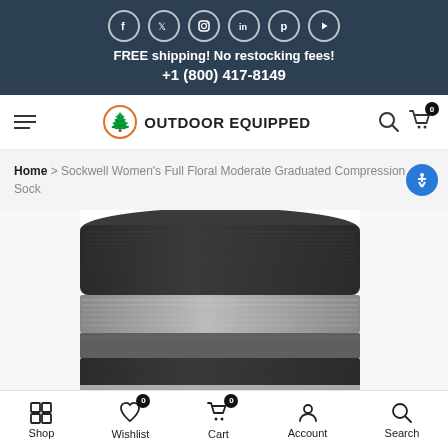FREE shipping! No restocking fees! +1 (800) 417-8149
[Figure (screenshot): Outdoor Equipped navigation bar with hamburger menu, logo with tree icon, search and cart icons]
Home > Sockwell Women's Full Floral Moderate Graduated Compression Sock
[Figure (photo): Close-up photo of a dark grey compression sock with light grey stripe near the top]
Shop | Wishlist 0 | Cart 0 | Account | Search